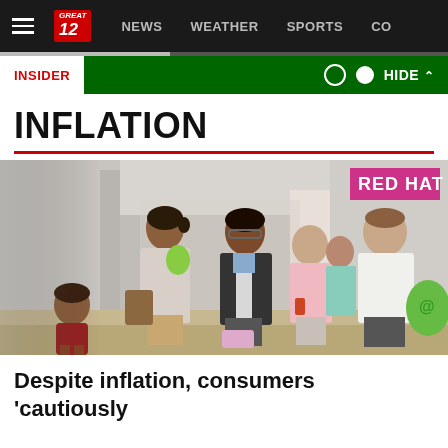NEWS  WEATHER  SPORTS  CO
INSIDER  HIDE
INFLATION
[Figure (photo): People walking through a shopping mall, carrying bags. A green shopping bag is visible on the right. A store sign is partially visible in the upper right background.]
Despite inflation, consumers 'cautiously